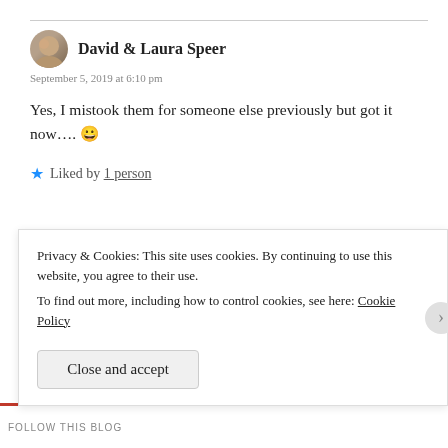David & Laura Speer
September 5, 2019 at 6:10 pm
Yes, I mistook them for someone else previously but got it now.... 😀
Liked by 1 person
Watt
September 5, 2019 at 6:14 pm
Privacy & Cookies: This site uses cookies. By continuing to use this website, you agree to their use. To find out more, including how to control cookies, see here: Cookie Policy
Close and accept